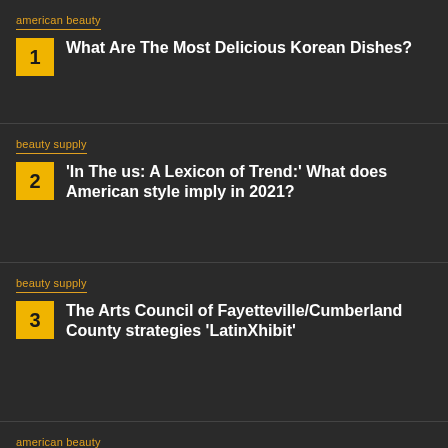american beauty | What Are The Most Delicious Korean Dishes?
beauty supply | 'In The us: A Lexicon of Trend:' What does American style imply in 2021?
beauty supply | The Arts Council of Fayetteville/Cumberland County strategies 'LatinXhibit'
american beauty | How to spot and avoid the 5 worst cryptocurrency frauds
fashion industry news